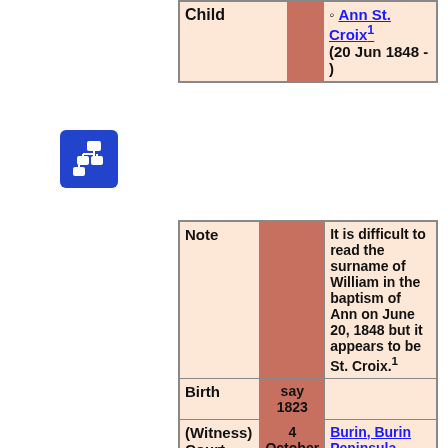| Child |  | Ann St. Croix¹
(20 Jun 1848 - ) |
[Figure (other): Blue icon with connected squares/rectangles, representing a pedigree or link symbol]
| Note |  | It is difficult to read the surname of William in the baptism of Ann on June 20, 1848 but it appears to be St. Croix.¹ |
| Birth | say 1823 |  |
| (Witness) Court Case | 4 October 1842 | Burin, Burin Peninsula, Newfoundland, Canada; Transcription of Court Documents:

Southern District Burin |